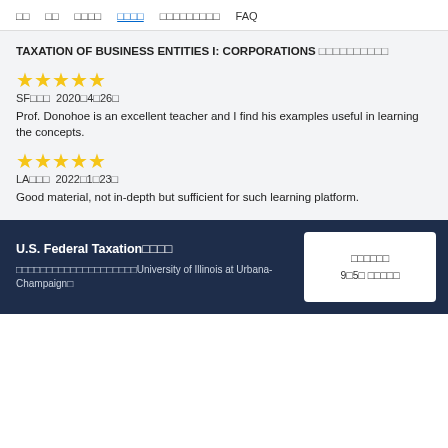□□  □□  □□□□  □□□□  □□□□□□□□□  FAQ
TAXATION OF BUSINESS ENTITIES I: CORPORATIONS □□□□□□□□□□
★★★★★
SF□□□  2020□4□26□
Prof. Donohoe is an excellent teacher and I find his examples useful in learning the concepts.
★★★★★
LA□□□  2022□1□23□
Good material, not in-depth but sufficient for such learning platform.
U.S. Federal Taxation□□□□
□□□□□□□□□□□□□□□□□□□□University of Illinois at Urbana-Champaign□
□□□□□□
9□5□ □□□□□